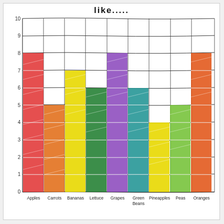like.....
[Figure (bar-chart): like.....]